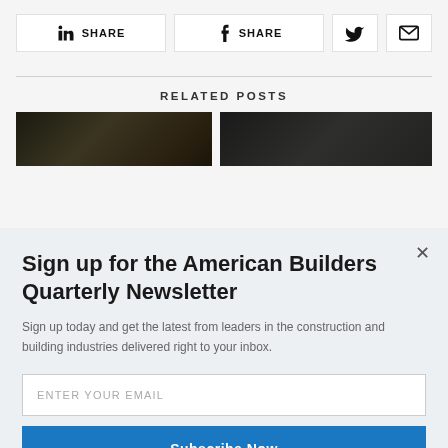[Figure (screenshot): Social share buttons row: LinkedIn SHARE button, Facebook SHARE button, Twitter bird icon button, email/envelope icon button]
RELATED POSTS
[Figure (photo): Two dark thumbnail images side by side for related posts]
Sign up for the American Builders Quarterly Newsletter
Sign up today and get the latest from leaders in the construction and building industries delivered right to your inbox.
ENTER YOUR EMAIL
Subscribe Now